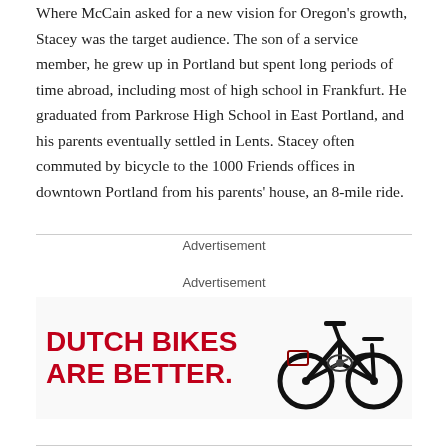Where McCain asked for a new vision for Oregon's growth, Stacey was the target audience. The son of a service member, he grew up in Portland but spent long periods of time abroad, including most of high school in Frankfurt. He graduated from Parkrose High School in East Portland, and his parents eventually settled in Lents. Stacey often commuted by bicycle to the 1000 Friends offices in downtown Portland from his parents' house, an 8-mile ride.
Advertisement
Advertisement
[Figure (illustration): Advertisement banner reading 'DUTCH BIKES ARE BETTER.' in bold red text on the left, with an illustration of a black Dutch-style bicycle on the right.]